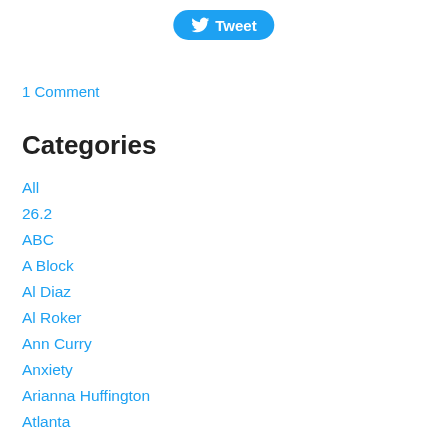[Figure (other): Twitter Tweet button with bird logo]
1 Comment
Categories
All
26.2
ABC
A Block
Al Diaz
Al Roker
Ann Curry
Anxiety
Arianna Huffington
Atlanta
Baby
Bank United Center
Bill Clinton
Birmingham
Book